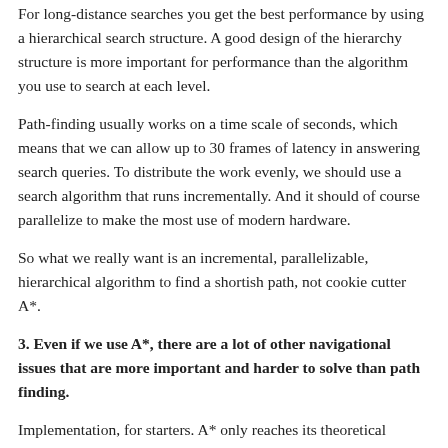For long-distance searches you get the best performance by using a hierarchical search structure. A good design of the hierarchy structure is more important for performance than the algorithm you use to search at each level.
Path-finding usually works on a time scale of seconds, which means that we can allow up to 30 frames of latency in answering search queries. To distribute the work evenly, we should use a search algorithm that runs incrementally. And it should of course parallelize to make the most use of modern hardware.
So what we really want is an incremental, parallelizable, hierarchical algorithm to find a shortish path, not cookie cutter A*.
3. Even if we use A*, there are a lot of other navigational issues that are more important and harder to solve than path finding.
Implementation, for starters. A* only reaches its theoretical performance when the data structures are implemented efficiently. You can still find A* implementations where the